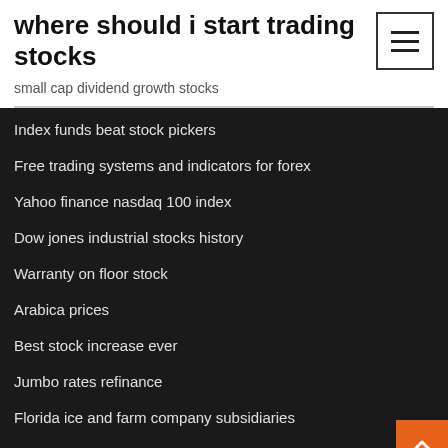where should i start trading stocks
small cap dividend growth stocks
Index funds beat stock pickers
Free trading systems and indicators for forex
Yahoo finance nasdaq 100 index
Dow jones industrial stocks history
Warranty on floor stock
Arabica prices
Best stock increase ever
Jumbo rates refinance
Florida ice and farm company subsidiaries
Msci all world index composition